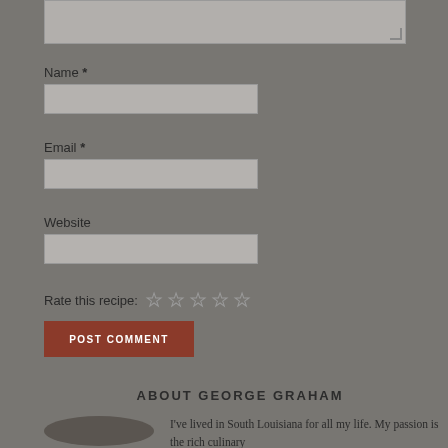[Figure (screenshot): Textarea input box (partially visible at top)]
Name *
[Figure (screenshot): Name text input field]
Email *
[Figure (screenshot): Email text input field]
Website
[Figure (screenshot): Website text input field]
Rate this recipe: ☆ ☆ ☆ ☆ ☆
POST COMMENT
ABOUT GEORGE GRAHAM
[Figure (photo): Circular photo of George Graham]
I've lived in South Louisiana for all my life. My passion is the rich culinary